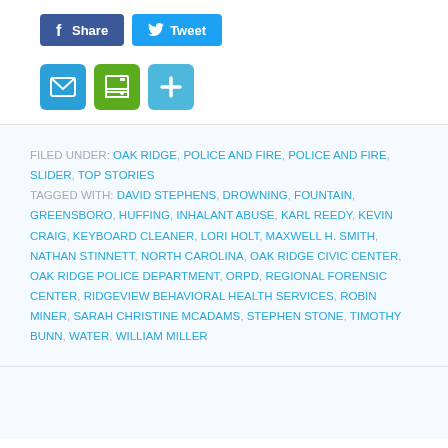[Figure (infographic): Social share buttons: Facebook Share (blue) and Twitter Tweet (light blue)]
[Figure (infographic): Icon buttons: email (blue), print (green), add/plus (light blue)]
FILED UNDER: OAK RIDGE, POLICE AND FIRE, POLICE AND FIRE, SLIDER, TOP STORIES
TAGGED WITH: DAVID STEPHENS, DROWNING, FOUNTAIN, GREENSBORO, HUFFING, INHALANT ABUSE, KARL REEDY, KEVIN CRAIG, KEYBOARD CLEANER, LORI HOLT, MAXWELL H. SMITH, NATHAN STINNETT, NORTH CAROLINA, OAK RIDGE CIVIC CENTER, OAK RIDGE POLICE DEPARTMENT, ORPD, REGIONAL FORENSIC CENTER, RIDGEVIEW BEHAVIORAL HEALTH SERVICES, ROBIN MINER, SARAH CHRISTINE MCADAMS, STEPHEN STONE, TIMOTHY BUNN, WATER, WILLIAM MILLER